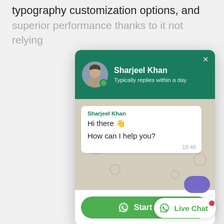typography customization options, and superior performance thanks to it not relying
[Figure (screenshot): WhatsApp-style live chat popup widget showing a contact card for Sharjeel Khan with a teal header, avatar, online indicator, chat bubble with message 'Hi there 👋 How can I help you?' timestamped 18:40, a green Start Chat button, and a Live Chat button in the bottom right corner.]